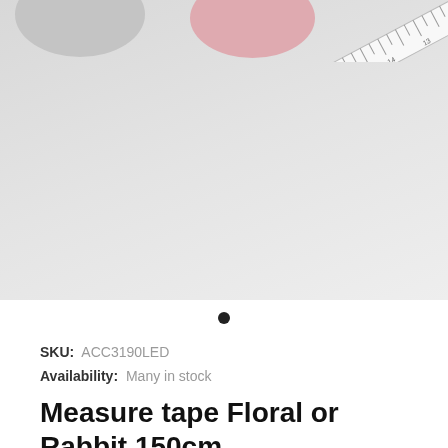[Figure (photo): Product photo showing two circular tape measure lids (gray and pink) and a measuring tape/ruler on a light gray background]
SKU: ACC3190LED
Availability: Many in stock
Measure tape Floral or Rabbit 150cm
€1,43
Tax included.
Color: Pink / Flower